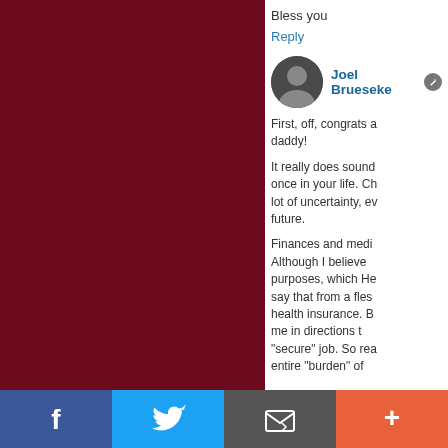[Figure (photo): Dark crimson/maroon colored image occupying the left portion of the page]
Bless you
Reply
[Figure (photo): Small circular avatar photo of Joel Brueseke]
Joel Brueseke
First, off, congrats a daddy!
It really does sound once in your life. Ch lot of uncertainty, ev future.
Finances and medi Although I believe purposes, which He say that from a fles health insurance. B me in directions t "secure" job. So rea entire "burden" of
[Figure (screenshot): Social sharing bar with Facebook, Twitter, email, and more buttons]